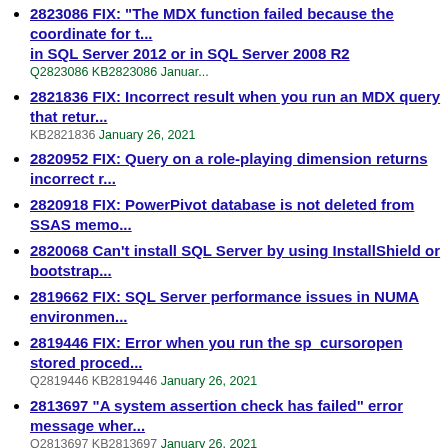2823086 FIX: "The MDX function failed because the coordinate for the... in SQL Server 2012 or in SQL Server 2008 R2 Q2823086 KB2823086 January...
2821836 FIX: Incorrect result when you run an MDX query that retur... KB2821836 January 26, 2021
2820952 FIX: Query on a role-playing dimension returns incorrect r...
2820918 FIX: PowerPivot database is not deleted from SSAS memo...
2820068 Can't install SQL Server by using InstallShield or bootstrap...
2819662 FIX: SQL Server performance issues in NUMA environmen...
2819446 FIX: Error when you run the sp_cursoropen stored proced... Q2819446 KB2819446 January 26, 2021
2813697 "A system assertion check has failed" error message wher... Q2813697 KB2813697 January 26, 2021
2812884 FIX: Index size increases significantly after you rebuild the... Q2812884 KB2812884 January 26, 2021
2812683 Cumulative update package 11 for SQL Server 2008 R2 SP...
2809431 FIX: Heap corruption occurs when an MDX error message... 2021
2809339 FIX: High memory usage or OOM error when you run an MI... KB2809339 January 26, 2021
2809198 FIX: Access violation after you run an ALTER statement to...
2806244 FIX: Access violation when you restore transaction log bac... environment Q2806244 KB2806244 January 26, 2021
2806241 FIX: SSRS 2008 R2 report is not displayed if you set the Pa...
2803994 FIX: Data corruption occurs when LOB data is loaded into...